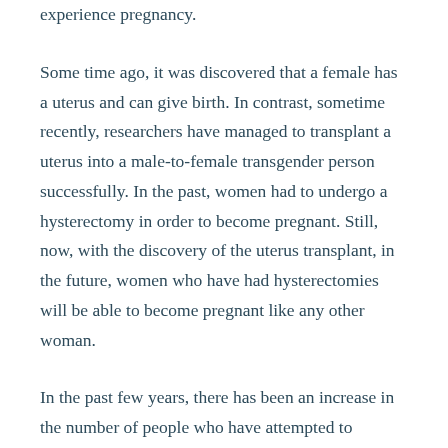experience pregnancy.
Some time ago, it was discovered that a female has a uterus and can give birth. In contrast, sometime recently, researchers have managed to transplant a uterus into a male-to-female transgender person successfully. In the past, women had to undergo a hysterectomy in order to become pregnant. Still, now, with the discovery of the uterus transplant, in the future, women who have had hysterectomies will be able to become pregnant like any other woman.
In the past few years, there has been an increase in the number of people who have attempted to undergo uterus transplants, a process that aims to replace a woman's uterus with an artificial one. The